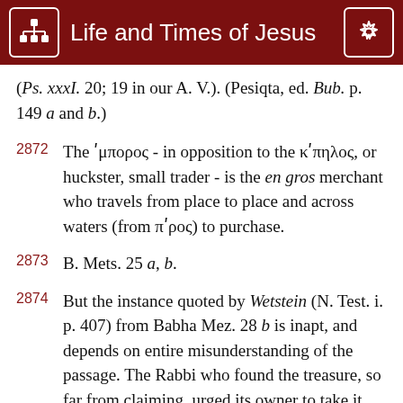Life and Times of Jesus
(Ps. xxxI. 20; 19 in our A. V.). (Pesiqta, ed. Bub. p. 149 a and b.)
2872    The ἐμπορος - in opposition to the κἀπηλος, or huckster, small trader - is the en gros merchant who travels from place to place and across waters (from πἐρος) to purchase.
2873    B. Mets. 25 a, b.
2874    But the instance quoted by Wetstein (N. Test. i. p. 407) from Babha Mez. 28 b is inapt, and depends on entire misunderstanding of the passage. The Rabbi who found the treasure, so far from claiming, urged its owner to take it back.
2875    The so-called Rabbinic illustrations are